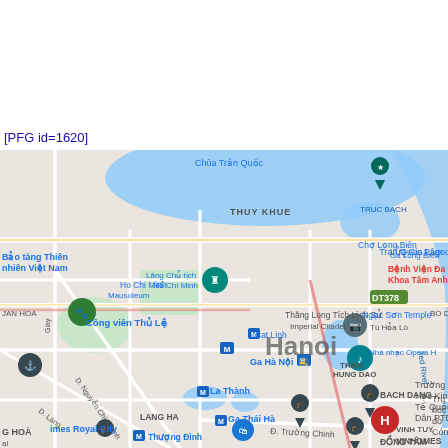[PFG id=1620]
[Figure (map): Google Maps screenshot showing Hanoi, Vietnam. Visible landmarks include: Chua Tran Quoc, Tran Quoc Pagoda, Bao tang Thien nhien Viet Nam, Ho Chi Minh Mausoleum, Lang Chu tich Ho Chi Minh, Cong vien Thu Le, Thang Long Imperial Citadel, Ngoc Son Temple, Hoa Lo, Hanoi city center label, Ga Ha Noi (train station), Cat Linh metro station, La Thanh metro, Ga Thai Ha metro, Thuong Dinh metro, TRAN HUNG DAO district, LANG HA district, BACH DANG district, Red River (Song Hong), Truc Bach lake, Truong Dai Hoc Kinh Te Quoc Dan PTBinh, Times Royal City, Biet Vien Da Khoa Tam Anh, Lua Gia Lam, DT378 road, D. Truong Chinh road, DONG TAM, VINHOMES, VINH TUY labels.]